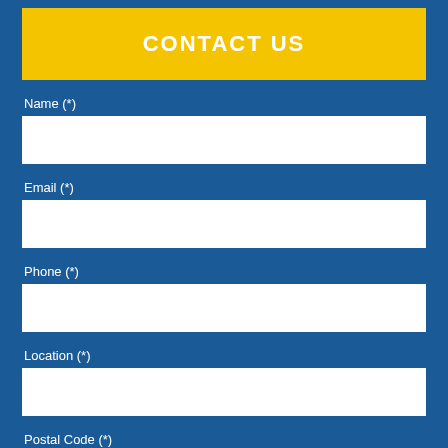CONTACT US
Name (*)
Email (*)
Phone (*)
Location (*)
Postal Code (*)